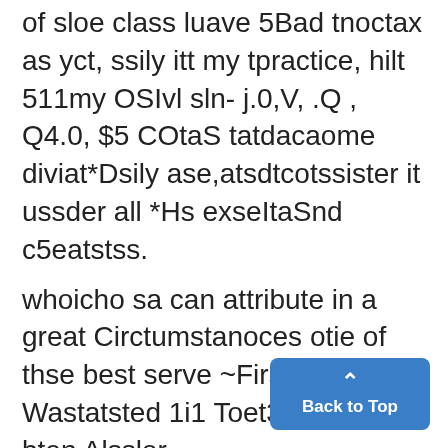of sloe class luave 5Bad tnoctax as yct, ssily itt my tpractice, hilt 511my OSIvl sln- j.0,V, .Q , Q4.0, $5 COtaS tatdacaome diviat*Dsily ase,atsdtcotssister it ussder all *Hs exseItaSnd c5eatstss.
whoicho sa can attribute in a great Circtumstanoces otie of thse best serve ~First Cla s and Wastatsted 1i1 Toet3sand dau1 bten Alsslor ~
many cases to seglect. A little ase itue possess. Fgor noetotol ax- N J'" s 0 Other traissdaiyectepeta0,ndaa.
hausstion or overwsork it gives sWrtIT.OENNELTO It.Si. GOCIN